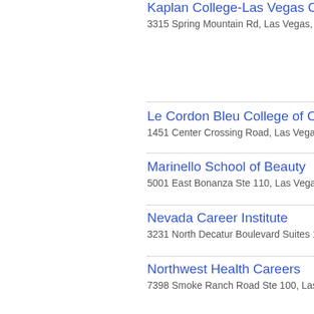Kaplan College-Las Vegas Campus
3315 Spring Mountain Rd, Las Vegas, NV 89...
Le Cordon Bleu College of Culina...
1451 Center Crossing Road, Las Vegas, NV...
Marinello School of Beauty
5001 East Bonanza Ste 110, Las Vegas, NV...
Nevada Career Institute
3231 North Decatur Boulevard Suites 119, La...
Northwest Health Careers
7398 Smoke Ranch Road Ste 100, Las Vega...
Pima Medical Institute
3333 East Flamingo Road, Las Vegas, NV 89...
The Art Institute of Las Vegas
2350 Corporate Circle, Henderson, NV 8907...